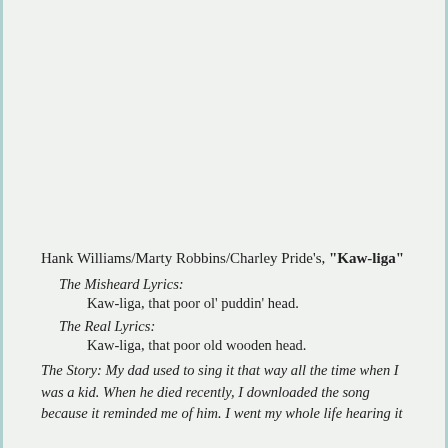Hank Williams/Marty Robbins/Charley Pride's, "Kaw-liga"
The Misheard Lyrics: Kaw-liga, that poor ol' puddin' head.
The Real Lyrics: Kaw-liga, that poor old wooden head.
The Story: My dad used to sing it that way all the time when I was a kid. When he died recently, I downloaded the song because it reminded me of him. I went my whole life hearing it